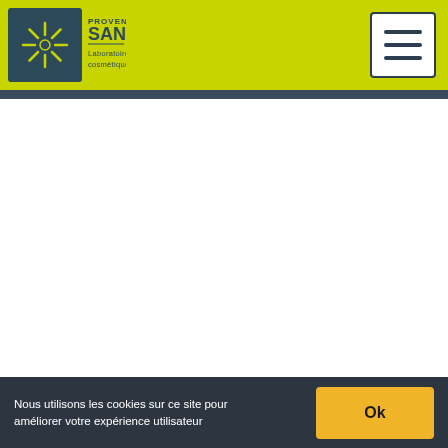[Figure (logo): Provence Santé Laboratoire Cosmétique logo — sun/star icon in dark teal square, brand name text beside it]
[Figure (other): Hamburger menu button — white rectangle with dark border, three horizontal lines]
Nous utilisons les cookies sur ce site pour améliorer votre expérience utilisateur
Ok